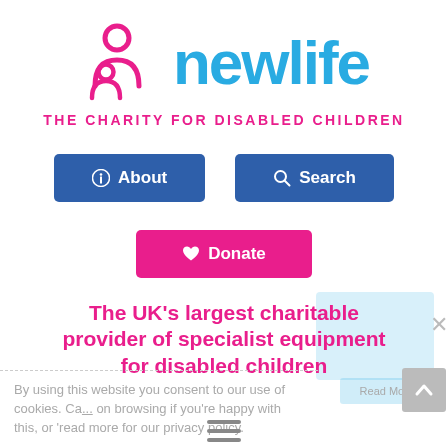[Figure (logo): Newlife charity logo: pink outline figures of adult and child, blue 'newlife' text, pink tagline 'THE CHARITY FOR DISABLED CHILDREN']
[Figure (screenshot): Navigation buttons: blue 'About' button with info icon, blue 'Search' button with magnifying glass icon, pink 'Donate' button with heart icon]
The UK's largest charitable provider of specialist equipment for disabled children
By using this website you consent to our use of cookies. Carry on browsing if you're happy with this, or 'read more for our privacy policy.